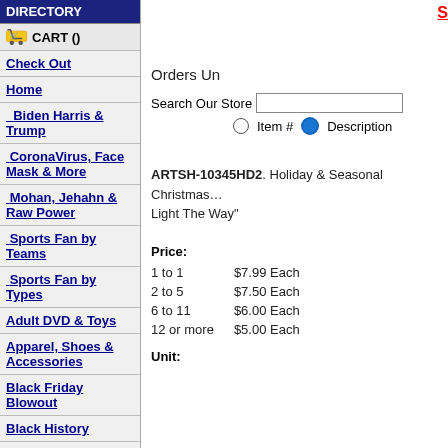DIRECTORY
CART ()
Check Out
Home
Biden Harris & Trump
CoronaVirus, Face Mask & More
Mohan, Jehahn & Raw Power
Sports Fan by Teams
Sports Fan by Types
Adult DVD & Toys
Apparel, Shoes & Accessories
Black Friday Blowout
Black History
Clearance Sale: 40% OFF
Contact Us
Orders Un
Search Our Store
Item #  Description
ARTSH-10345HD2. Holiday & Seasonal Christmas Light The Way"
Price:
1 to 1   $7.99 Each
2 to 5   $7.50 Each
6 to 11  $6.00 Each
12 or more  $5.00 Each
Unit: